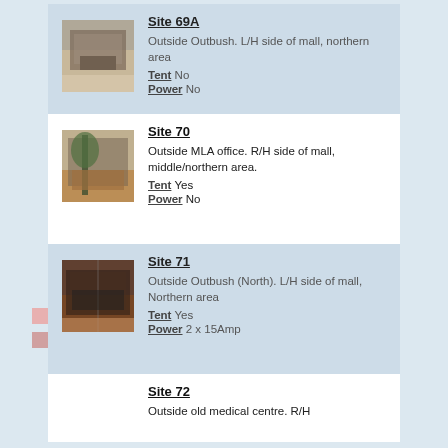Site 69A
Outside Outbush. L/H side of mall, northern area
Tent No
Power No
Site 70
Outside MLA office. R/H side of mall, middle/northern area.
Tent Yes
Power No
Site 71
Outside Outbush (North). L/H side of mall, Northern area
Tent Yes
Power 2 x 15Amp
Site 72
Outside old medical centre. R/H